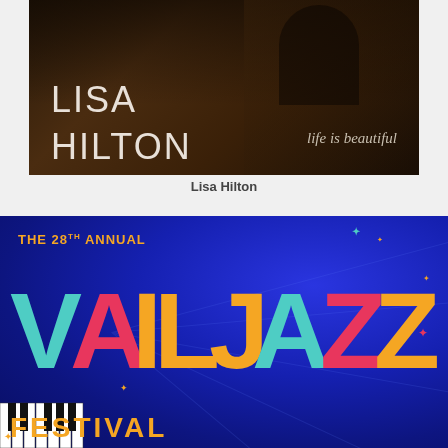[Figure (photo): Album cover for Lisa Hilton 'life is beautiful' — dark warm brown toned image with artist name in light sans-serif text and italic subtitle on the right]
Lisa Hilton
[Figure (illustration): The 28th Annual Vail Jazz Festival promotional poster — blue background with large colorful stylized lettering 'VAIL JAZZ' in teal, yellow/orange, pink and teal colors, with star decorations, piano keys at bottom left, and 'FESTIVAL' text at the bottom]